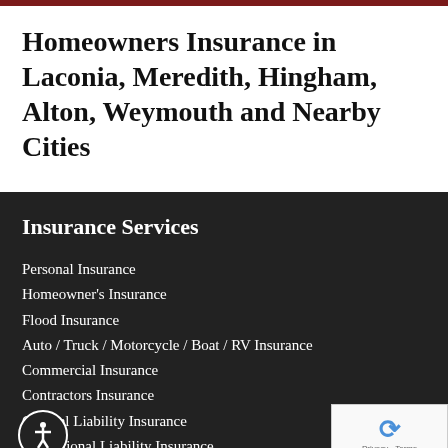Homeowners Insurance in Laconia, Meredith, Hingham, Alton, Weymouth and Nearby Cities
Insurance Services
Personal Insurance
Homeowner's Insurance
Flood Insurance
Auto / Truck / Motorcycle / Boat / RV Insurance
Commercial Insurance
Contractors Insurance
General Liability Insurance
Professional Liability Insurance
Worker's Compensation Insurance
Employee Benefits Insurance / Retirement Plans
Life & Disability Insurance